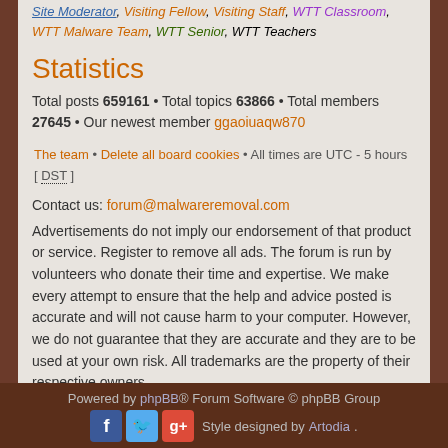Site Moderator, Visiting Fellow, Visiting Staff, WTT Classroom, WTT Malware Team, WTT Senior, WTT Teachers
Statistics
Total posts 659161 • Total topics 63866 • Total members 27645 • Our newest member ggaoiuaqw870
The team • Delete all board cookies • All times are UTC - 5 hours [ DST ]
Contact us: forum@malwareremoval.com
Advertisements do not imply our endorsement of that product or service. Register to remove all ads. The forum is run by volunteers who donate their time and expertise. We make every attempt to ensure that the help and advice posted is accurate and will not cause harm to your computer. However, we do not guarantee that they are accurate and they are to be used at your own risk. All trademarks are the property of their respective owners.
Member site: UNITE Against Malware
Board index
Powered by phpBB® Forum Software © phpBB Group  Style designed by Artodia.